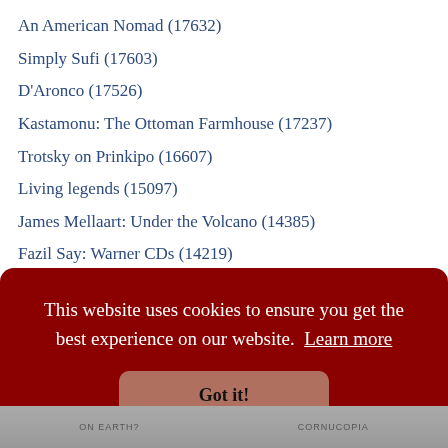An American Nomad (17632)
Simply Sufi (17603)
D'Aronco (17526)
Kastamonu: The Ottoman Farmhouse (17237)
Trotsky on Prinkipo (16607)
Living legends (15097)
James Mellaart: Under the Volcano (14385)
Fazil Say: Warner CDs (14219)
The Coolest Thing (14088)
Drama in the Round (13696)
Oil's Boom and Bust (13654)
This website uses cookies to ensure you get the best experience on our website. Learn more
Got it!